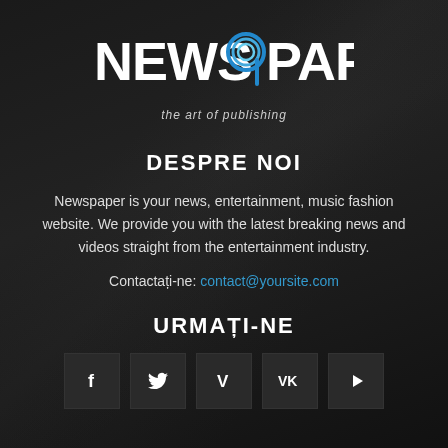[Figure (logo): NEWS9PAPER logo with blue swirl '9' symbol and tagline 'the art of publishing']
DESPRE NOI
Newspaper is your news, entertainment, music fashion website. We provide you with the latest breaking news and videos straight from the entertainment industry.
Contactați-ne: contact@yoursite.com
URMAȚI-NE
[Figure (infographic): Row of 5 social media icon buttons: Facebook (f), Twitter (bird), Vimeo (V), VK, YouTube (play)]